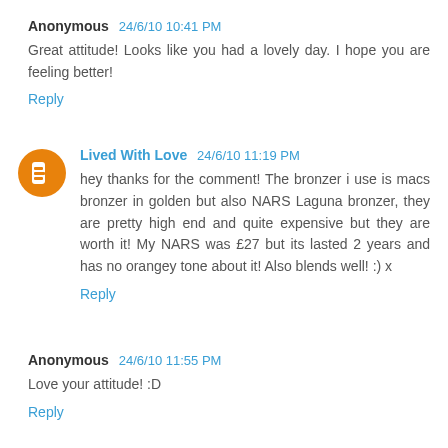Anonymous 24/6/10 10:41 PM
Great attitude! Looks like you had a lovely day. I hope you are feeling better!
Reply
Lived With Love 24/6/10 11:19 PM
hey thanks for the comment! The bronzer i use is macs bronzer in golden but also NARS Laguna bronzer, they are pretty high end and quite expensive but they are worth it! My NARS was £27 but its lasted 2 years and has no orangey tone about it! Also blends well! :) x
Reply
Anonymous 24/6/10 11:55 PM
Love your attitude! :D
Reply